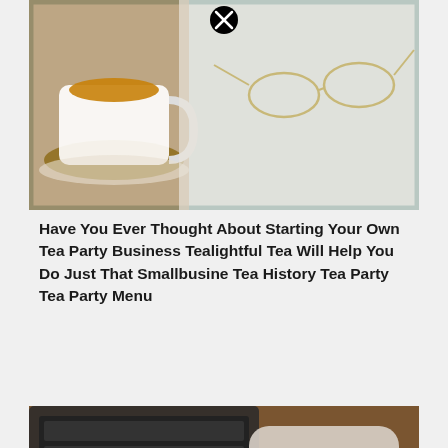[Figure (photo): Tea cup with brown liquid on a teal/marble surface with reading glasses, inside a teal-bordered frame, with a close/remove button at top center]
Have You Ever Thought About Starting Your Own Tea Party Business Tealightful Tea Will Help You Do Just That Smallbusine Tea History Tea Party Tea Party Menu
[Figure (photo): Laptop keyboard and phone on wooden surface with white rectangle overlay text reading HOW TO START and large yellow text A TEA, with a close/remove button at bottom center]